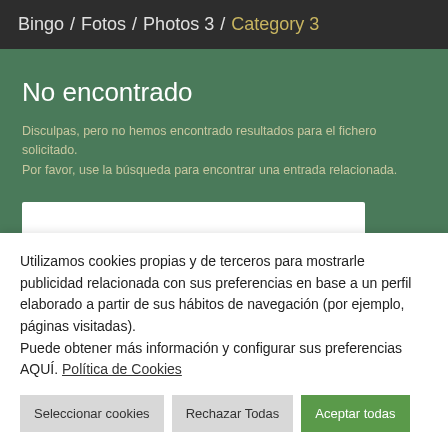Bingo / Fotos / Photos 3 / Category 3
No encontrado
Disculpas, pero no hemos encontrado resultados para el fichero solicitado. Por favor, use la búsqueda para encontrar una entrada relacionada.
Utilizamos cookies propias y de terceros para mostrarle publicidad relacionada con sus preferencias en base a un perfil elaborado a partir de sus hábitos de navegación (por ejemplo, páginas visitadas). Puede obtener más información y configurar sus preferencias AQUÍ. Política de Cookies
Seleccionar cookies
Rechazar Todas
Aceptar todas